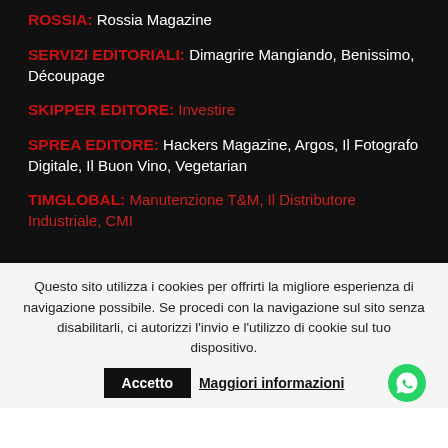ROSSIA: Rossia Magazine
SERVIZI EDITORIALI: Dimagrire Mangiando, Benissimo, Découpage
SKIPPER EDITORE: Investire
SPREA EDITORE: Hackers Magazine, Argos, Il Fotografo Digitale, Il Buon Vino, Vegetarian
TIMGLOBAL: Manutenzione T&M, Il Distributore Industriale, CMI
Questo sito utilizza i cookies per offrirti la migliore esperienza di navigazione possibile. Se procedi con la navigazione sul sito senza disabilitarli, ci autorizzi l'invio e l'utilizzo di cookie sul tuo dispositivo.
Accetto  Maggiori informazioni